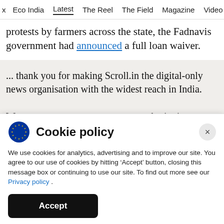x  Eco India  Latest  The Reel  The Field  Magazine  Video
protests by farmers across the state, the Fadnavis government had announced a full loan waiver.
... thank you for making Scroll.in the digital-only news organisation with the widest reach in India.

We request you to support our award-winning
Cookie policy
We use cookies for analytics, advertising and to improve our site. You agree to our use of cookies by hitting ‘Accept’ button, closing this message box or continuing to use our site. To find out more see our Privacy policy .
Accept